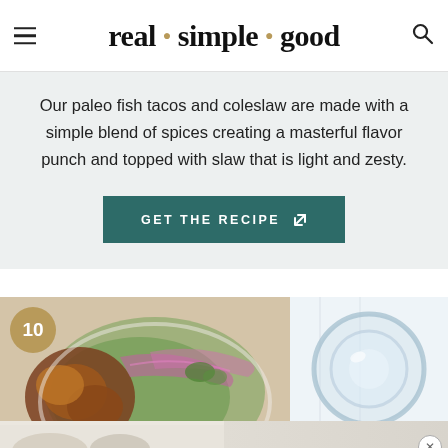real · simple · good
Our paleo fish tacos and coleslaw are made with a simple blend of spices creating a masterful flavor punch and topped with slaw that is light and zesty.
GET THE RECIPE ↗
[Figure (photo): Number 10 badge over food photos: a bowl of salad with grilled skewers and red onion on the left, a glass of water viewed from above on the right, and a cauliflower dish at the bottom]
[Figure (photo): Bottom advertisement strip showing food images with a close button]